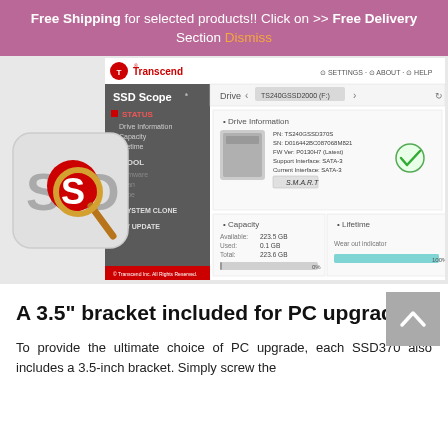Free Shipping for selected products!! Click on >> Free Delivery Section Dismiss
[Figure (screenshot): Transcend SSD Scope software screenshot showing Drive Information, Capacity, and Lifetime panels. Overlaid with an SSD logo icon (magnifying glass over 'SSD' text).]
A 3.5" bracket included for PC upgrade
To provide the ultimate choice of PC upgrade, each SSD370 also includes a 3.5-inch bracket. Simply screw the